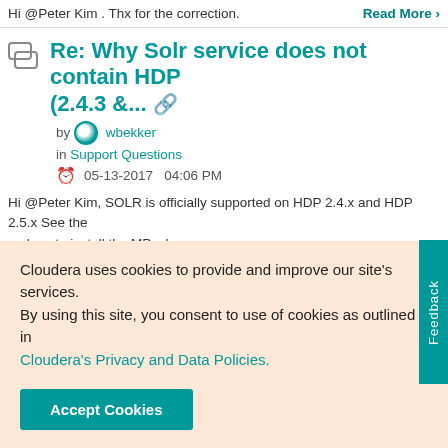Hi @Peter Kim . Thx for the correction.
Re: Why Solr service does not contain HDP (2.4.3 &...
by wbekker in Support Questions
05-13-2017  04:06 PM
Hi @Peter Kim, SOLR is officially supported on HDP 2.4.x and HDP 2.5.x See the on how to install the MPack: http://docs.hortonworks.com/HDPDocuments/HDP2/HDP-2.5.3/bk_solr-sear... installation/content/ch_hdp-search-install-ambari.html Installing it vi... Read M...
Re: Spark2 Tuning running on Yarn
Cloudera uses cookies to provide and improve our site's services. By using this site, you consent to use of cookies as outlined in Cloudera's Privacy and Data Policies.
Accept Cookies